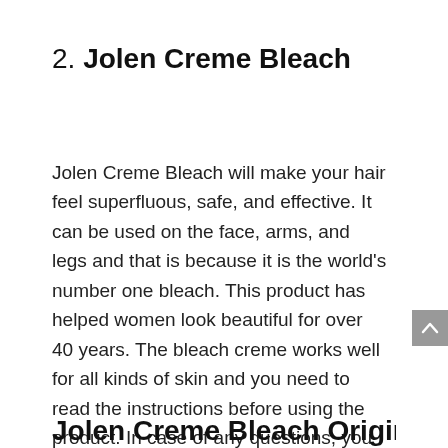2. Jolen Creme Bleach
Jolen Creme Bleach will make your hair feel superfluous, safe, and effective. It can be used on the face, arms, and legs and that is because it is the world's number one bleach. This product has helped women look beautiful for over 40 years. The bleach creme works well for all kinds of skin and you need to read the instructions before using the product. In case of any questions, you can call the service line.
Jolen Creme Bleach Original